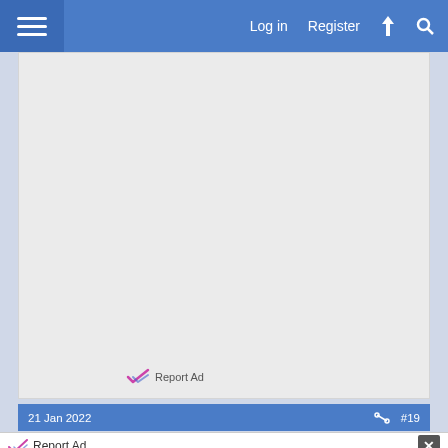Log in  Register
[Figure (screenshot): Gray advertisement placeholder box with 'Report Ad' link at the bottom]
Report Ad
21 Jan 2022   #19
[Figure (screenshot): Report Ad overlay banner with BitLife advertisement: WHEN REAL LIFE IS QUARANTINED — BitLife app ad with emoji mascot]
Report Ad — WHEN REAL LIFE IS QUARANTINED — BitLiFE